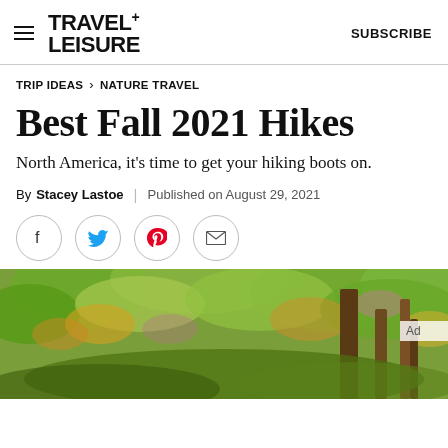TRAVEL+ LEISURE   SUBSCRIBE
TRIP IDEAS > NATURE TRAVEL
Best Fall 2021 Hikes
North America, it's time to get your hiking boots on.
By Stacey Lastoe | Published on August 29, 2021
[Figure (illustration): Social sharing icons: Facebook, Twitter, Pinterest, Email — each inside a circle]
[Figure (photo): Autumn forest canopy with colorful leaves in green, yellow, and orange tones with tree trunks visible]